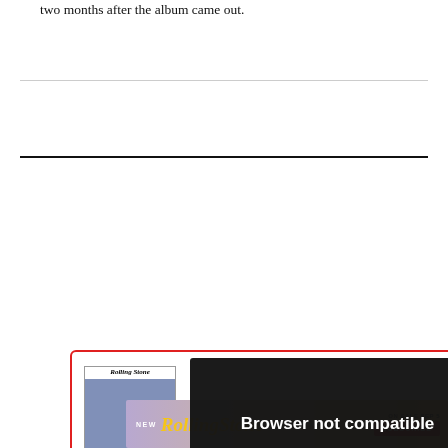two months after the album came out.
[Figure (screenshot): Rolling Stone magazine subscription card with magazine cover showing The Wiggles, partially obscured by a browser not compatible modal overlay. The modal reads: 'Browser not compatible', 'You may need to update your browser', 'Report ID: 1gaoo0lof5rbbgdlark'. A red Subscribe button is visible on the card.]
[Figure (advertisement): Rolling Stone magazine banner advertisement: NEW RollingStone.com | ON SALE SEP 5 | SUBSCRIBE button in red]